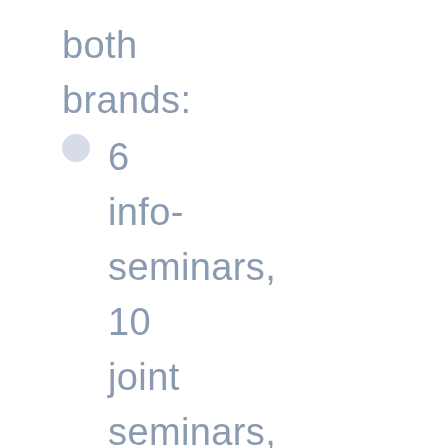both brands:
6 info-seminars, 10 joint seminars, 23 local seminars, 6 regional contact-making events, 10 local food...